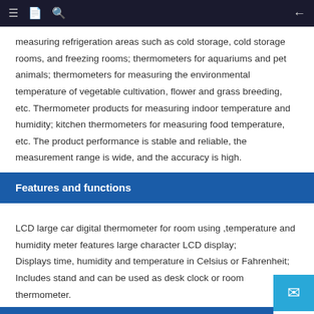≡  [icon]  🔍  ←
measuring refrigeration areas such as cold storage, cold storage rooms, and freezing rooms; thermometers for aquariums and pet animals; thermometers for measuring the environmental temperature of vegetable cultivation, flower and grass breeding, etc. Thermometer products for measuring indoor temperature and humidity; kitchen thermometers for measuring food temperature, etc. The product performance is stable and reliable, the measurement range is wide, and the accuracy is high.
Features and functions
LCD large car digital thermometer for room using ,temperature and humidity meter features large character LCD display;
Displays time, humidity and temperature in Celsius or Fahrenheit;
Includes stand and can be used as desk clock or room thermometer.